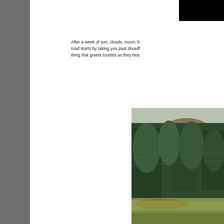[Figure (photo): Dark/black photograph in the top right corner of the page]
After a week of sun, clouds, moon, b... road starts by taking you past dreadf... thing that greets tourists as they hea...
[Figure (photo): Photograph of a forested mountain scene with green conifers, a hillside with some clearcut or brown area, and overgrown grass/brush in the foreground]